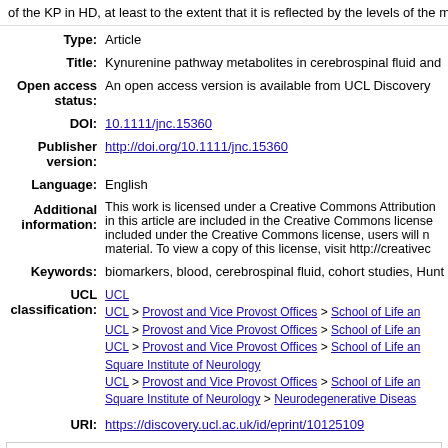of the KP in HD, at least to the extent that it is reflected by the levels of the me
| Type: | Article |
| Title: | Kynurenine pathway metabolites in cerebrospinal fluid and |
| Open access status: | An open access version is available from UCL Discovery |
| DOI: | 10.1111/jnc.15360 |
| Publisher version: | http://doi.org/10.1111/jnc.15360 |
| Language: | English |
| Additional information: | This work is licensed under a Creative Commons Attribution in this article are included in the Creative Commons license included under the Creative Commons license, users will n material. To view a copy of this license, visit http://creativec |
| Keywords: | biomarkers, blood, cerebrospinal fluid, cohort studies, Hunt |
| UCL classification: | UCL
UCL > Provost and Vice Provost Offices > School of Life an
UCL > Provost and Vice Provost Offices > School of Life an
UCL > Provost and Vice Provost Offices > School of Life an Square Institute of Neurology
UCL > Provost and Vice Provost Offices > School of Life an Square Institute of Neurology > Neurodegenerative Diseas |
| URI: | https://discovery.ucl.ac.uk/id/eprint/10125109 |
Downloads since deposit